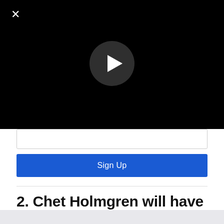[Figure (screenshot): Black video player area with a white X close button in the top-left corner and a dark circular play button in the center]
Sign Up
2. Chet Holmgren will have the best